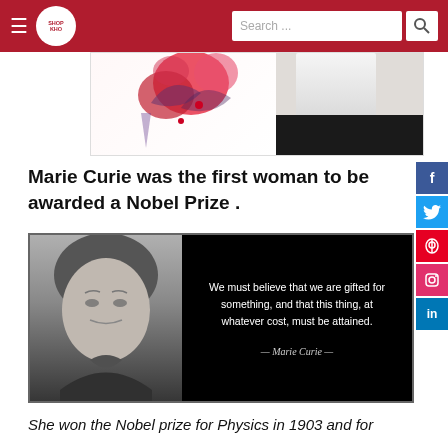SHOP KHO | Search ...
[Figure (photo): Banner image with floral decoration and a person in white top]
Marie Curie was the first woman to be awarded a Nobel Prize .
[Figure (photo): Black and white portrait of Marie Curie alongside quote: We must believe that we are gifted for something, and that this thing, at whatever cost, must be attained. — Marie Curie —]
She won the Nobel prize for Physics in 1903 and for